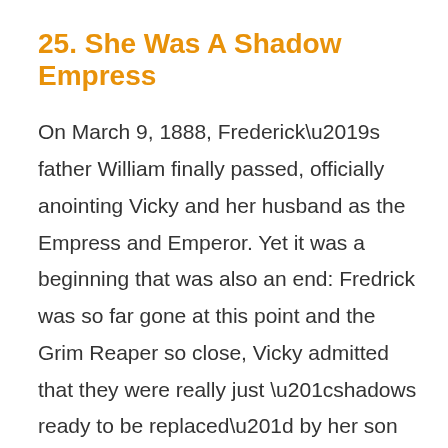25. She Was A Shadow Empress
On March 9, 1888, Frederick’s father William finally passed, officially anointing Vicky and her husband as the Empress and Emperor. Yet it was a beginning that was also an end: Fredrick was so far gone at this point and the Grim Reaper so close, Vicky admitted that they were really just “shadows ready to be replaced” by her son Wilhelm. The end may have been near, but Vicky still went out fighting.